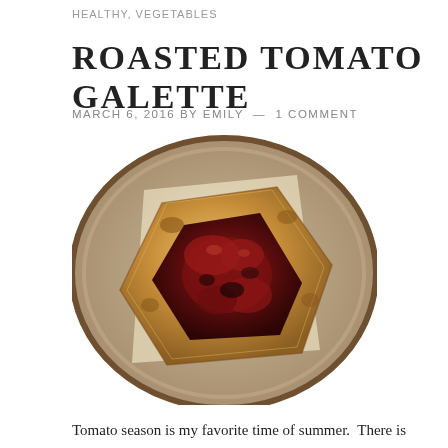HEALTHY, VEGETABLES
ROASTED TOMATO GALETTE
MARCH 6, 2016 BY EMILY — 1 COMMENT
[Figure (photo): Overhead photo of a roasted tomato galette with golden-brown folded pastry crust filled with deep red roasted tomatoes, placed on parchment paper on a ceramic plate.]
Tomato season is my favorite time of summer.  There is nothing better than picking a fresh tomato right off the vine and biting into it like an apple.  Forced to lean